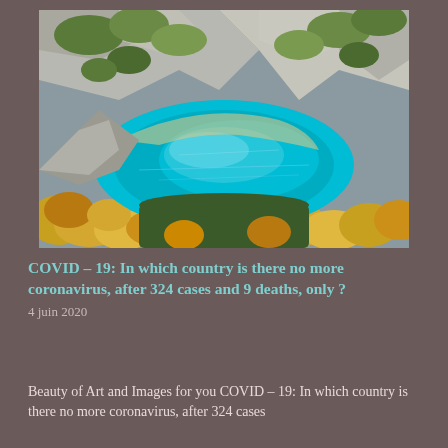[Figure (photo): Aerial view of a turquoise mountain lake surrounded by rocky cliffs and trees with autumn foliage in yellow, orange and green]
COVID – 19: In which country is there no more coronavirus, after 324 cases and 9 deaths, only ?
4 juin 2020
Beauty of Art and Images for you COVID – 19: In which country is there no more coronavirus, after 324 cases